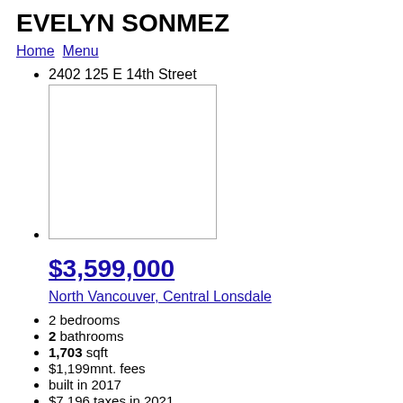EVELYN SONMEZ
Home  Menu
2402 125 E 14th Street
[Figure (photo): Blank/placeholder image with border]
$3,599,000
North Vancouver, Central Lonsdale
2 bedrooms
2 bathrooms
1,703 sqft
$1,199mnt. fees
built in 2017
$7,196 taxes in 2021
Apartment
R2617870